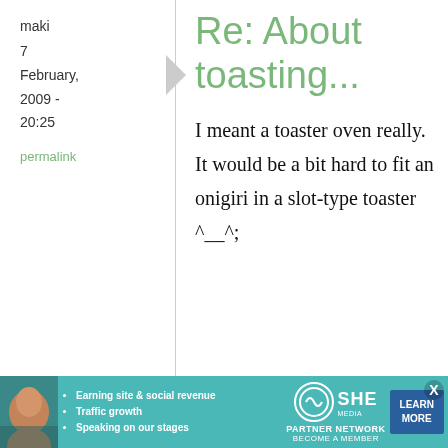maki
7
February, 2009 - 20:25
permalink
Re: About toasting...
I meant a toaster oven really. It would be a bit hard to fit an onigiri in a slot-type toaster ^__^;
Ashe
Simple and
[Figure (infographic): Advertisement banner for SHE Media Partner Network with photo, bullet points about earning site & social revenue, traffic growth, speaking on our stages, SHE logo, LEARN MORE button, and X close button]